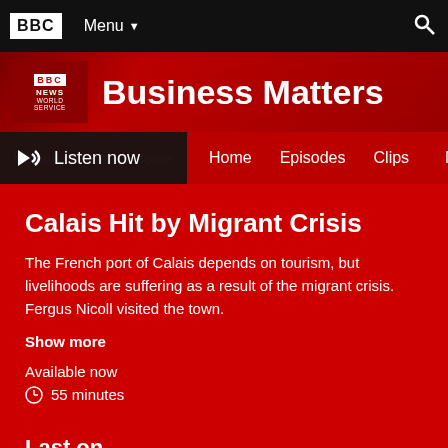BBC | Menu
Business Matters
Listen now | Business Matters Home | Episodes | Clips | More
Calais Hit by Migrant Crisis
The French port of Calais depends on tourism, but livelihoods are suffering as a result of the migrant crisis. Fergus Nicoll visited the town.
Show more
Available now
55 minutes
Last on
Sat 1 Aug 2015
00:05
Local time